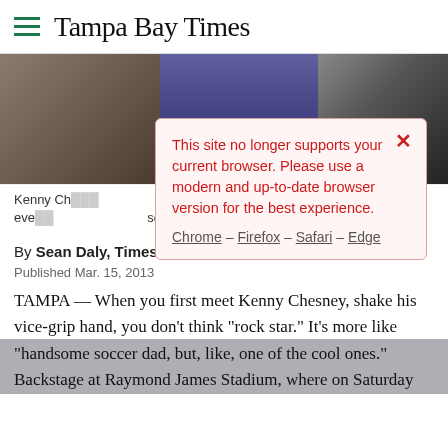Tampa Bay Times
[Figure (photo): Photo of Kenny Chesney backstage, partially obscured by browser compatibility modal dialog]
This site no longer supports your current browser. Please use a modern and up-to-date browser version for the best experience.
Chrome – Firefox – Safari – Edge
Kenny Ch[esney] ... sound check eve[ning] ... sday night, pre[...]
By Sean Daly, Times Pop Music Critic
Published Mar. 15, 2013
TAMPA — When you first meet Kenny Chesney, shake his vice-grip hand, you don't think "rock star." It's more like "handsome soccer dad, but, like, one of the cool ones." Backstage at Raymond James Stadium, where on Saturday